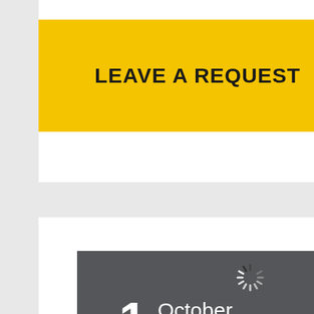LEAVE A REQUEST
1 October 14:00
[Figure (other): Loading spinner icon (circular progress indicator with grey spokes)]